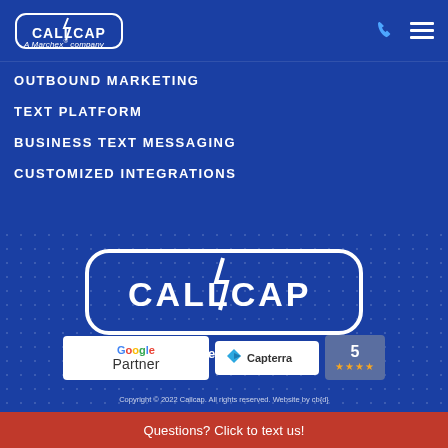[Figure (logo): Callcap logo - A Marchex company, small version in header]
OUTBOUND MARKETING
TEXT PLATFORM
BUSINESS TEXT MESSAGING
CUSTOMIZED INTEGRATIONS
[Figure (logo): Large Callcap logo centered with A Marchex® company subtitle]
[Figure (logo): Google Partner badge]
[Figure (logo): Capterra 5-star badge]
Copyright © 2022 Callcap. All rights reserved. Website by cb{d}
Questions? Click to text us!